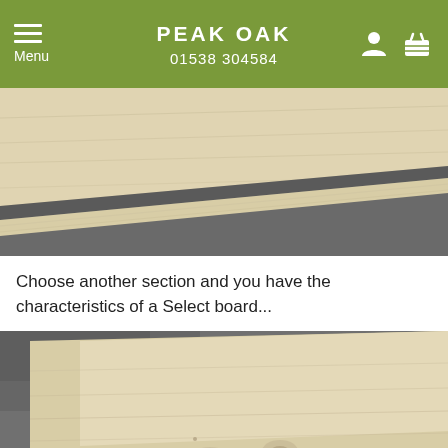PEAK OAK  01538 304584  Menu
[Figure (photo): Close-up photo of light oak wooden floorboard planks with tongue and groove edges, against a dark background]
Choose another section and you have the characteristics of a Select board...
[Figure (photo): Close-up photo of a wide light oak wooden floorboard plank showing wood grain and a small knot, placed on a dark slate/stone surface]